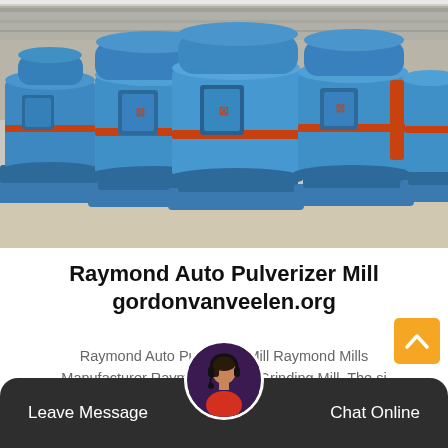[Figure (photo): Row of large blue Raymond Auto Pulverizer Mill machines in an industrial factory setting, with orange support frames and equipment in the background.]
Raymond Auto Pulverizer Mill
gordonvanveelen.org
Raymond Auto Pulverizer Mill Raymond Mills Manufacturer Raymond Roller Grinding Mill. The si of the R Raymond m adjusted within 80 to...
Leave Message   Chat Online